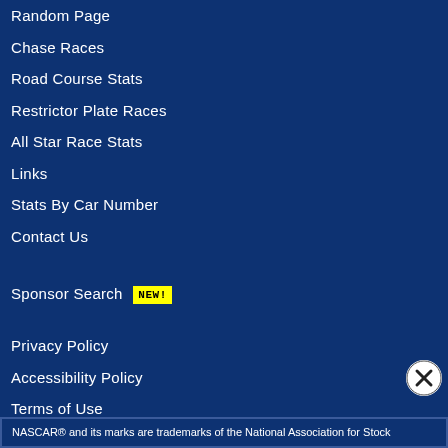Random Page
Chase Races
Road Course Stats
Restrictor Plate Races
All Star Race Stats
Links
Stats By Car Number
Contact Us
Sponsor Search NEW!
Privacy Policy
Accessibility Policy
Terms of Use
Do Not Sell My Info (California)
NASCAR® and its marks are trademarks of the National Association for Stock